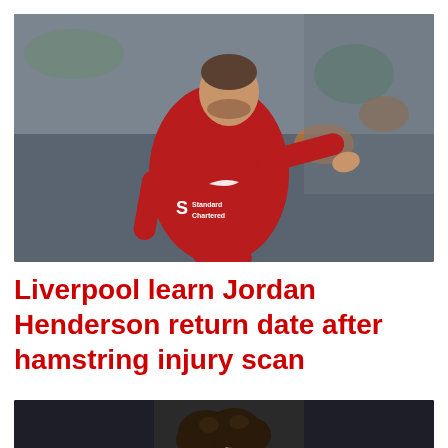[Figure (photo): Jordan Henderson in a red Liverpool FC jersey with Standard Chartered sponsor, arm extended, playing in a match with crowd in background]
Liverpool learn Jordan Henderson return date after hamstring injury scan
[Figure (photo): Partial view of a Liverpool FC player with curly hair, cropped at bottom of page]